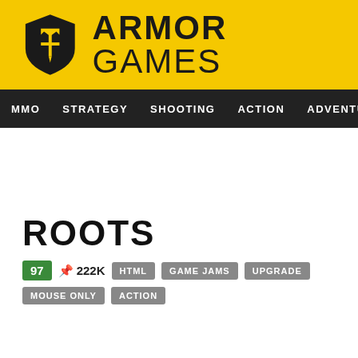[Figure (logo): Armor Games logo: yellow header bar with a black shield/crest icon (crown and sword) on the left, and bold text 'ARMOR GAMES' to the right]
MMO  STRATEGY  SHOOTING  ACTION  ADVENTURE  P
ROOTS
97  222K  HTML  GAME JAMS  UPGRADE  MOUSE ONLY  ACTION